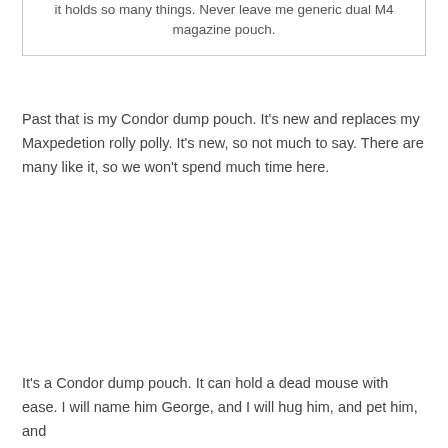it holds so many things. Never leave me generic dual M4 magazine pouch.
Past that is my Condor dump pouch. It's new and replaces my Maxpedetion rolly polly. It's new, so not much to say. There are many like it, so we won't spend much time here.
It's a Condor dump pouch. It can hold a dead mouse with ease. I will name him George, and I will hug him, and pet him, and